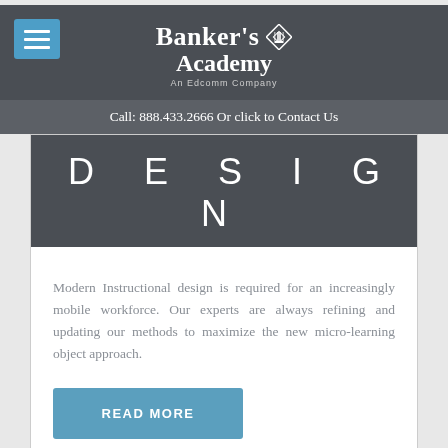[Figure (logo): Banker's Academy logo with pillar icon and 'An Edcomm Company' tagline on dark gray header background, with blue hamburger menu button top-left]
Call: 888.433.2666 Or click to Contact Us
DESIGN
Modern Instructional design is required for an increasingly mobile workforce. Our experts are always refining and updating our methods to maximize the new micro-learning object approach.
READ MORE